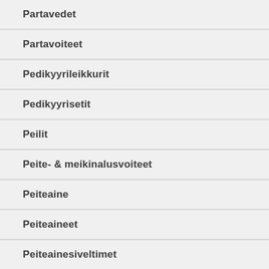Partavedet
Partavoiteet
Pedikyyrileikkurit
Pedikyyrisetit
Peilit
Peite- & meikinalusvoiteet
Peiteaine
Peiteaineet
Peiteainesiveltimet